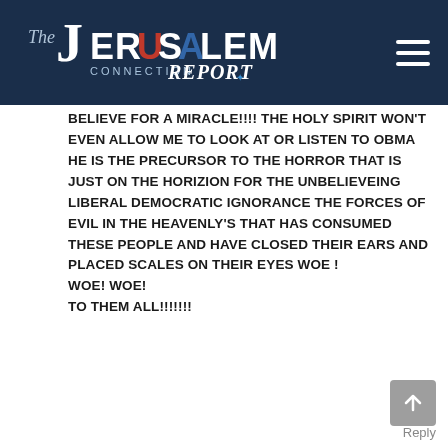[Figure (logo): The Jerusalem Connection Report logo on dark navy header bar with hamburger menu icon]
BELIEVE FOR A MIRACLE!!!! THE HOLY SPIRIT WON'T EVEN ALLOW ME TO LOOK AT OR LISTEN TO OBMA HE IS THE PRECURSOR TO THE HORROR THAT IS JUST ON THE HORIZION FOR THE UNBELIEVEING LIBERAL DEMOCRATIC IGNORANCE THE FORCES OF EVIL IN THE HEAVENLY'S THAT HAS CONSUMED THESE PEOPLE AND HAVE CLOSED THEIR EARS AND PLACED SCALES ON THEIR EYES WOE !
WOE! WOE!
TO THEM ALL!!!!!!!